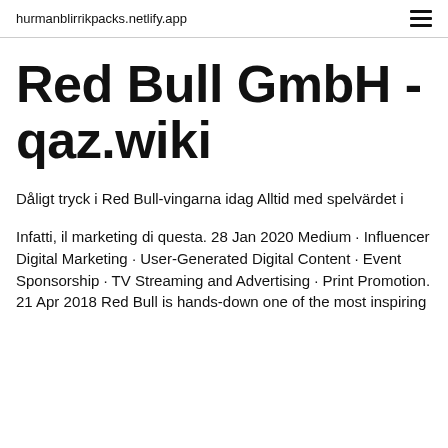hurmanblirrikpacks.netlify.app
Red Bull GmbH - qaz.wiki
Dåligt tryck i Red Bull-vingarna idag Alltid med spelvärdet i
Infatti, il marketing di questa. 28 Jan 2020 Medium · Influencer Digital Marketing · User-Generated Digital Content · Event Sponsorship · TV Streaming and Advertising · Print Promotion. 21 Apr 2018 Red Bull is hands-down one of the most inspiring